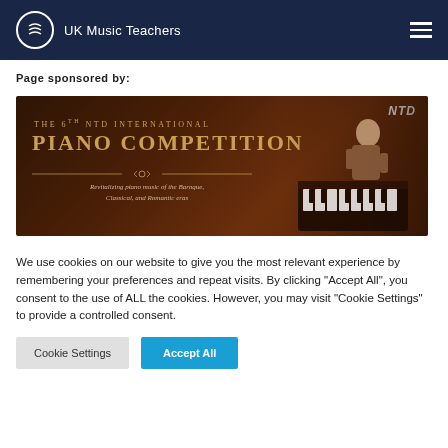UK Music Teachers
Page sponsored by:
[Figure (illustration): Banner advertisement for The 6th NTD International Piano Competition. Dark brown background with gold text. Shows 'THE 6TH NTD INTERNATIONAL PIANO COMPETITION' in large serif font. Tagline: 'Revitalizing piano music of the Baroque, Classical, and Romantic eras'. NTD logo in top right. Image of a young woman playing piano on the right side.]
We use cookies on our website to give you the most relevant experience by remembering your preferences and repeat visits. By clicking “Accept All”, you consent to the use of ALL the cookies. However, you may visit "Cookie Settings" to provide a controlled consent.
Cookie Settings
Accept All